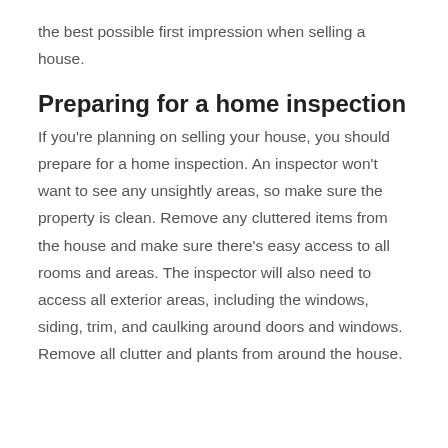the best possible first impression when selling a house.
Preparing for a home inspection
If you're planning on selling your house, you should prepare for a home inspection. An inspector won't want to see any unsightly areas, so make sure the property is clean. Remove any cluttered items from the house and make sure there's easy access to all rooms and areas. The inspector will also need to access all exterior areas, including the windows, siding, trim, and caulking around doors and windows. Remove all clutter and plants from around the house.